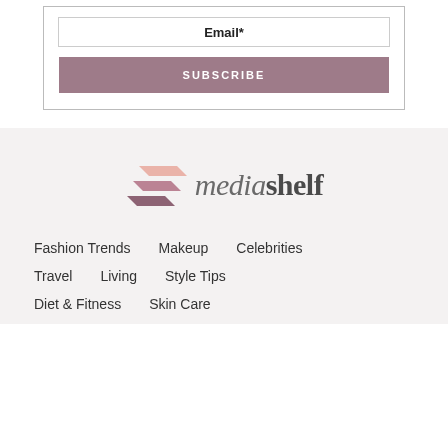Email*
SUBSCRIBE
[Figure (logo): mediashelf logo with stacked stripe icon and stylized text]
Fashion Trends
Makeup
Celebrities
Travel
Living
Style Tips
Diet & Fitness
Skin Care